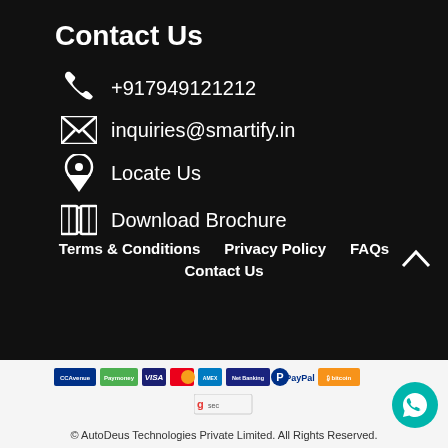Contact Us
+917949121212
inquiries@smartify.in
Locate Us
Download Brochure
Terms & Conditions
Privacy Policy
FAQs
Contact Us
[Figure (logo): Payment method logos: CCAvenue, Paymoney, Visa, Mastercard, American Express, Net Banking, PayPal, Bitcoin]
[Figure (logo): Google badge]
© AutoDeus Technologies Private Limited. All Rights Reserved.